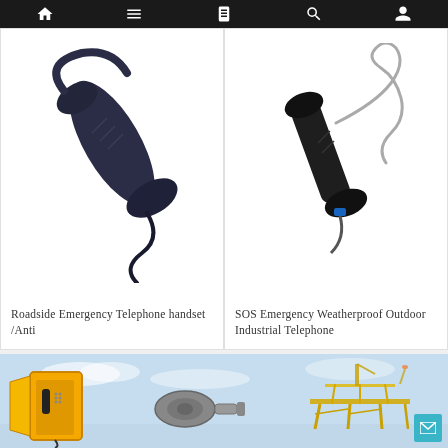Navigation bar with home, menu, contacts, search, user icons
[Figure (photo): Dark navy/black telephone handset with coiled cable — Roadside Emergency Telephone handset]
Roadside Emergency Telephone handset /Anti
[Figure (photo): Black SOS emergency weatherproof outdoor industrial telephone handset with steel cable and blue connector]
SOS Emergency Weatherproof Outdoor Industrial Telephone
[Figure (photo): Banner showing yellow industrial weatherproof telephone enclosure, cylindrical horn speaker, and offshore oil rig platform in background with blue sky]